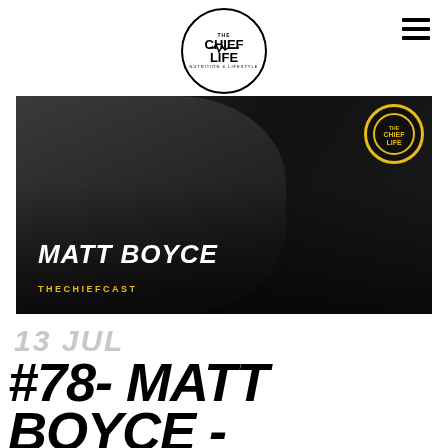THE CHIEF LIFE — Navigation logo and hamburger menu
[Figure (photo): Dark gym photo of Matt Boyce smiling, with 'MATT BOYCE' text overlay in white italic bold and 'THECHIEFCAST' in yellow below, plus circular yellow Chief Life badge top right]
13 JUL
#78- MATT BOYCE - LEARNING TO GRO…